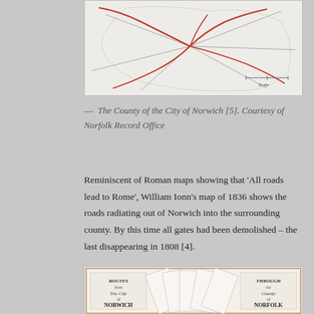[Figure (map): Partial view of a historical map of the County of the City of Norwich, showing roads radiating outward, with red lines indicating major routes.]
— The County of the City of Norwich [5]. Courtesy of Norfolk Record Office
Reminiscent of Roman maps showing that ‘All roads lead to Rome’, William Ionn’s map of 1836 shows the roads radiating out of Norwich into the surrounding county. By this time all gates had been demolished – the last disappearing in 1808 [4].
[Figure (map): Partial view of a historical road map showing routes from the City of Norwich through the County of Norfolk, with fan-like pages spread out.]